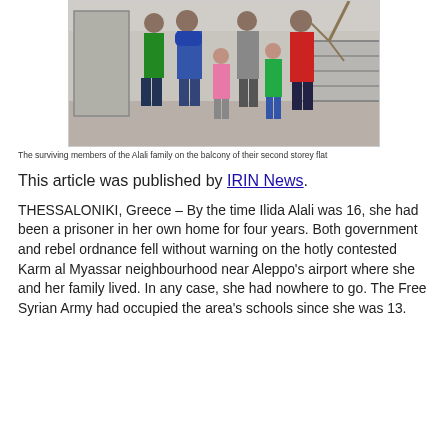[Figure (photo): A family group of several adults and children standing on a balcony of a second storey flat, posing for the camera. The setting appears to be an apartment building.]
The surviving members of the Alali family on the balcony of their second storey flat
This article was published by IRIN News.
THESSALONIKI, Greece – By the time Ilida Alali was 16, she had been a prisoner in her own home for four years. Both government and rebel ordnance fell without warning on the hotly contested Karm al Myassar neighbourhood near Aleppo’s airport where she and her family lived. In any case, she had nowhere to go. The Free Syrian Army had occupied the area’s schools since she was 13.